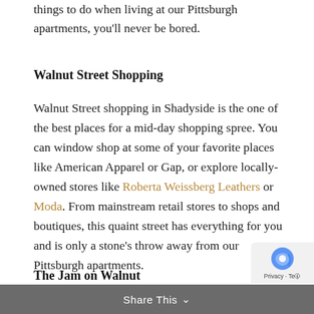things to do when living at our Pittsburgh apartments, you'll never be bored.
Walnut Street Shopping
Walnut Street shopping in Shadyside is the one of the best places for a mid-day shopping spree. You can window shop at some of your favorite places like American Apparel or Gap, or explore locally-owned stores like Roberta Weissberg Leathers or Moda. From mainstream retail stores to shops and boutiques, this quaint street has everything for you and is only a stone’s throw away from our Pittsburgh apartments.
The Jam on Walnut
Share This